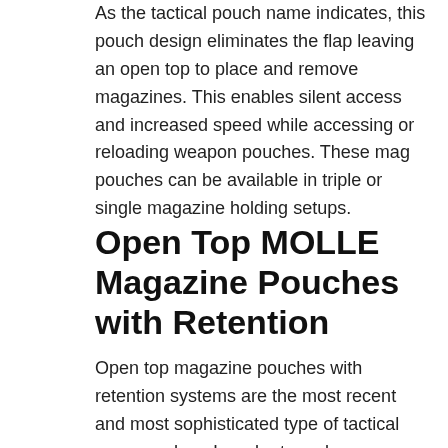As the tactical pouch name indicates, this pouch design eliminates the flap leaving an open top to place and remove magazines. This enables silent access and increased speed while accessing or reloading weapon pouches. These mag pouches can be available in triple or single magazine holding setups.
Open Top MOLLE Magazine Pouches with Retention
Open top magazine pouches with retention systems are the most recent and most sophisticated type of tactical mag pouches. In order to make mag access a lot easier and reloads faster than before, this style of tactical